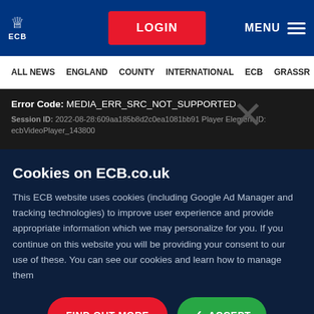ECB logo | LOGIN | MENU
ALL NEWS | ENGLAND | COUNTY | INTERNATIONAL | ECB | GRASSROOTS
Error Code: MEDIA_ERR_SRC_NOT_SUPPORTED
Session ID: 2022-08-28:609aa185b8d2c0ea1081bb91 Player Element ID: ecbVideoPlayer_143800
Cookies on ECB.co.uk
This ECB website uses cookies (including Google Ad Manager and tracking technologies) to improve user experience and provide appropriate information which we may personalize for you. If you continue on this website you will be providing your consent to our use of these. You can see our cookies and learn how to manage them
FIND OUT MORE | ACCEPT